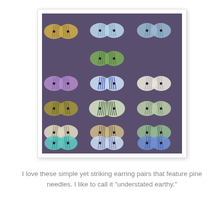[Figure (photo): A grid arrangement of colorful butterfly-shaped earring pairs displayed on a dark purple/grey background. Each pair consists of two oval wing-shaped pieces with etched pine needle stripe patterns. Colors vary: golden/yellow, green, purple, blue, teal, white/cream, and more. Each piece has a small hole near the center.]
I love these simple yet striking earring pairs that feature pine needles. I like to call it "understated earthy."